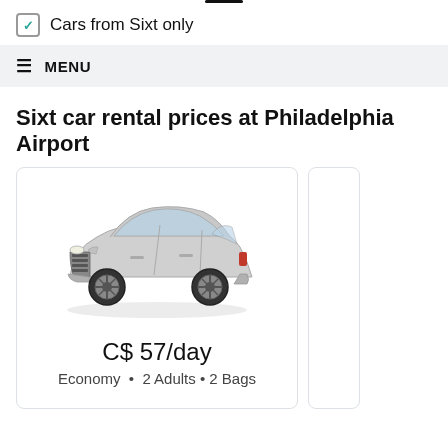[Figure (other): Short horizontal black line divider at top center of page]
Cars from Sixt only
MENU
Sixt car rental prices at Philadelphia Airport
[Figure (photo): Silver hatchback/sedan car (VW Arteon style) photographed from front-left 3/4 angle on white background]
C$ 57/day
Economy  •  2 Adults • 2 Bags